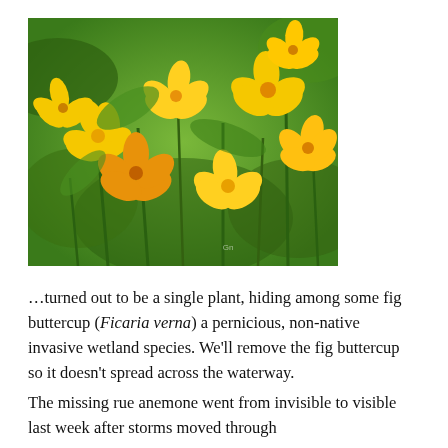[Figure (photo): Close-up photograph of yellow fig buttercup flowers (Ficaria verna) with bright orange-yellow petals blooming among green leaves and stems.]
…turned out to be a single plant, hiding among some fig buttercup (Ficaria verna) a pernicious, non-native invasive wetland species. We'll remove the fig buttercup so it doesn't spread across the waterway.
The missing rue anemone went from invisible to visible last week after storms moved through